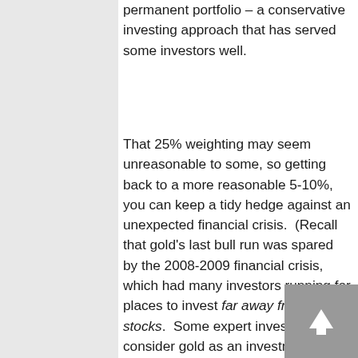permanent portfolio – a conservative investing approach that has served some investors well.
That 25% weighting may seem unreasonable to some, so getting back to a more reasonable 5-10%, you can keep a tidy hedge against an unexpected financial crisis.  (Recall that gold's last bull run was spared by the 2008-2009 financial crisis, which had many investors running for places to invest far away from stocks.  Some expert investors consider gold as an investment insurance policy.)